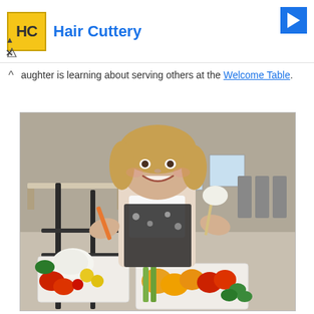[Figure (logo): Hair Cuttery advertisement banner with HC logo in yellow square, 'Hair Cuttery' text in blue, and a blue navigation arrow icon top right. An 'X' close button and ad label are visible.]
aughter is learning about serving others at the Welcome Table.
[Figure (photo): A young girl with blonde hair smiling, wearing a floral apron, holding vegetables (carrot sticks) over a large display of fresh colorful vegetables including bell peppers, cauliflower, cherry tomatoes, celery, and cucumbers arranged in white baskets on a black metal rack stand. Background shows a school cafeteria with tables and chairs.]